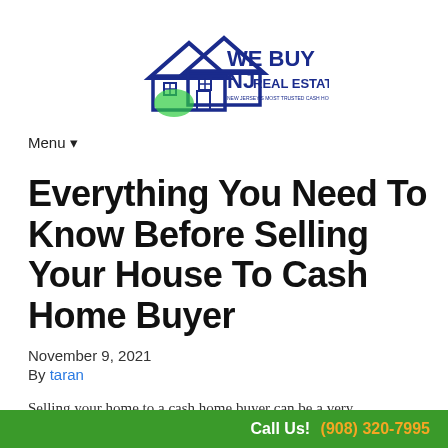[Figure (logo): We Buy NJ Real Estate logo with house icon in blue and green]
Menu ▾
Everything You Need To Know Before Selling Your House To Cash Home Buyer
November 9, 2021
By taran
Selling your home to a cash home buyer can be a very
Call Us! (908) 320-7995